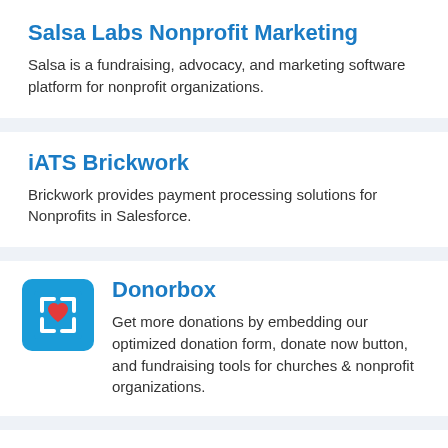Salsa Labs Nonprofit Marketing
Salsa is a fundraising, advocacy, and marketing software platform for nonprofit organizations.
iATS Brickwork
Brickwork provides payment processing solutions for Nonprofits in Salesforce.
[Figure (logo): Donorbox logo icon: blue rounded square with white bracket corners and a red heart in the center]
Donorbox
Get more donations by embedding our optimized donation form, donate now button, and fundraising tools for churches & nonprofit organizations.
Causeview